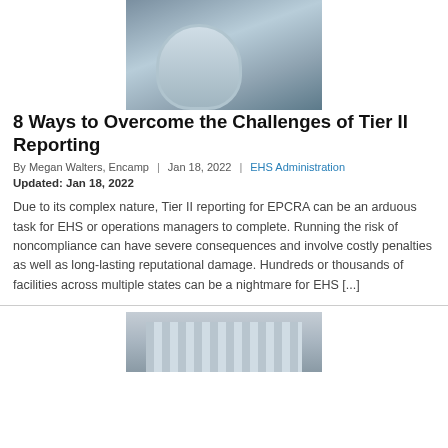[Figure (photo): Lab worker in white protective suit handling a stainless steel canister/container with blue gloves]
8 Ways to Overcome the Challenges of Tier II Reporting
By Megan Walters, Encamp  |  Jan 18, 2022  |  EHS Administration
Updated: Jan 18, 2022
Due to its complex nature, Tier II reporting for EPCRA can be an arduous task for EHS or operations managers to complete. Running the risk of noncompliance can have severe consequences and involve costly penalties as well as long-lasting reputational damage. Hundreds or thousands of facilities across multiple states can be a nightmare for EHS [...]
[Figure (photo): Classical government or institutional building with white columns and stone facade, partially visible]